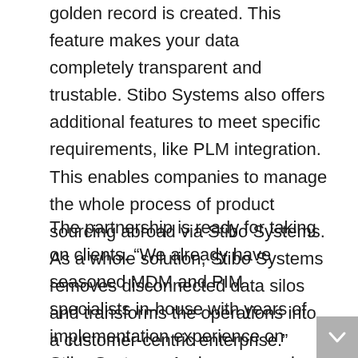golden record is created. This feature makes your data completely transparent and trustable. Stibo Systems also offers additional features to meet specific requirements, like PLM integration. This enables companies to manage the whole process of product sourcing abroad via Stibo Systems. As a whole solution, Stibo Systems removes disconnected data silos and transforms the operations into a customer-centric enterprise.”
The partnership is ready for taking on clients. “We already have seasoned MDM and PIM specialists in-house with years of implementation experience on Stibo Systems. And more people are currently being trained”, adds Moors. “We expect to support existing Stibo System users that need further support with the implementation and new clients looking to create a single view of their data and